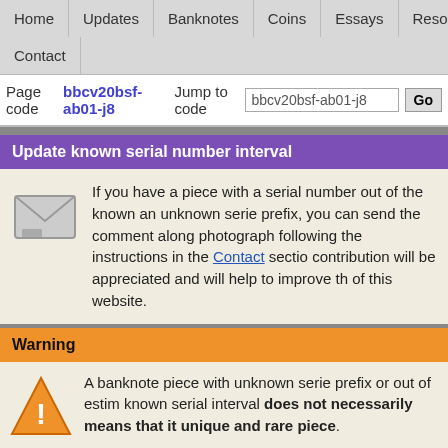Home | Updates | Banknotes | Coins | Essays | Resources | Sections | Contact
Page code bbcv20bsf-ab01-j8   Jump to code bbcv20bsf-ab01-j8   Go
Update known serial number interval
If you have a piece with a serial number out of the known an unknown serie prefix, you can send the comment along photograph following the instructions in the Contact section. contribution will be appreciated and will help to improve the of this website.
Warning
A banknote piece with unknown serie prefix or out of estimated known serial interval does not necessarily means that it is a unique and rare piece. Due to the absence of official information, piece distribution country, difficulties and limits to the inhabitants to access p money, specially since 2017 approximately, make difficult studies and estimation of banknote issues. The warning apply also for known pieces due to the reserv